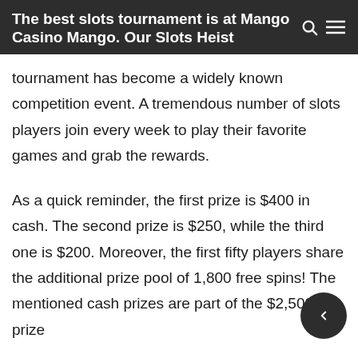The best slots tournament is at Mango Casino Mango. Our Slots Heist
tournament has become a widely known competition event. A tremendous number of slots players join every week to play their favorite games and grab the rewards.
As a quick reminder, the first prize is $400 in cash. The second prize is $250, while the third one is $200. Moreover, the first fifty players share the additional prize pool of 1,800 free spins! The mentioned cash prizes are part of the $2,500 prize